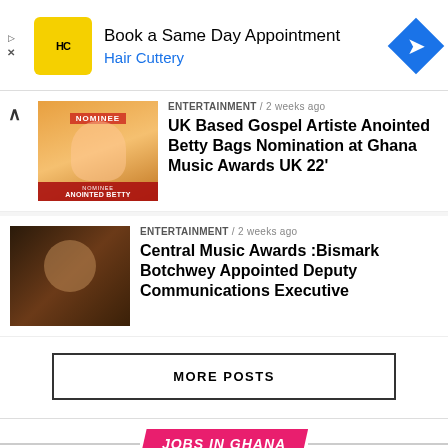[Figure (other): Hair Cuttery advertisement banner with yellow HC logo, navigation arrow icon, text 'Book a Same Day Appointment / Hair Cuttery']
ENTERTAINMENT / 2 weeks ago
UK Based Gospel Artiste Anointed Betty Bags Nomination at Ghana Music Awards UK 22'
ENTERTAINMENT / 2 weeks ago
Central Music Awards :Bismark Botchwey Appointed Deputy Communications Executive
MORE POSTS
JOBS IN GHANA